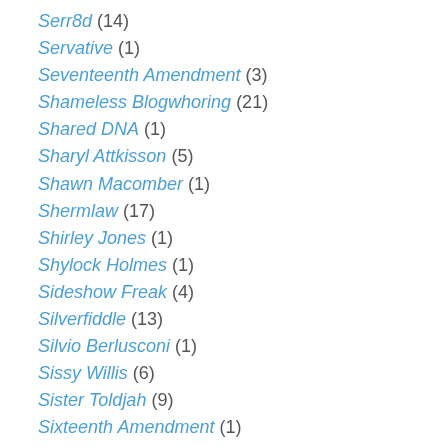Serr8d (14)
Servative (1)
Seventeenth Amendment (3)
Shameless Blogwhoring (21)
Shared DNA (1)
Sharyl Attkisson (5)
Shawn Macomber (1)
Shermlaw (17)
Shirley Jones (1)
Shylock Holmes (1)
Sideshow Freak (4)
Silverfiddle (13)
Silvio Berlusconi (1)
Sissy Willis (6)
Sister Toldjah (9)
Sixteenth Amendment (1)
SJC Americans (1)
Sky News (1)
Smash Mouth Politics (16)
Smitty (410)